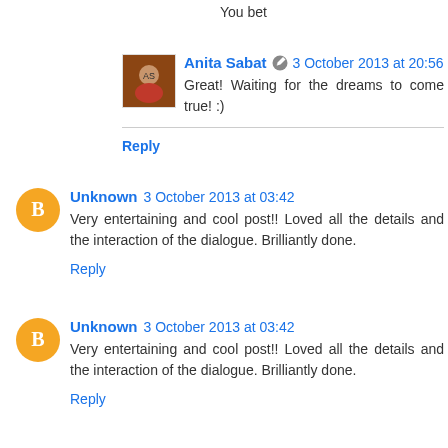You bet
[Figure (photo): Profile photo of Anita Sabat]
Anita Sabat 🖊 3 October 2013 at 20:56
Great! Waiting for the dreams to come true! :)
Reply
[Figure (logo): Orange Blogger B icon for Unknown commenter 1]
Unknown 3 October 2013 at 03:42
Very entertaining and cool post!! Loved all the details and the interaction of the dialogue. Brilliantly done.
Reply
[Figure (logo): Orange Blogger B icon for Unknown commenter 2]
Unknown 3 October 2013 at 03:42
Very entertaining and cool post!! Loved all the details and the interaction of the dialogue. Brilliantly done.
Reply